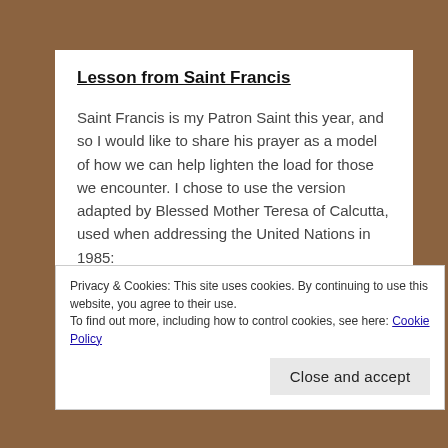Lesson from Saint Francis
Saint Francis is my Patron Saint this year, and so I would like to share his prayer as a model of how we can help lighten the load for those we encounter. I chose to use the version adapted by Blessed Mother Teresa of Calcutta, used when addressing the United Nations in 1985:
Make us worthy Lord to serve our fellow men
Privacy & Cookies: This site uses cookies. By continuing to use this website, you agree to their use.
To find out more, including how to control cookies, see here: Cookie Policy
Close and accept